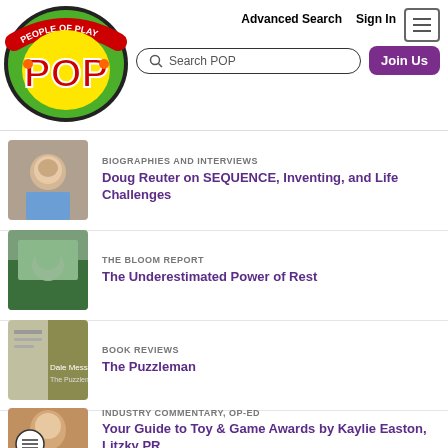People of Play (POP) — Advanced Search | Sign In | Search POP | Join Us
BIOGRAPHIES AND INTERVIEWS — Doug Reuter on SEQUENCE, Inventing, and Life Challenges
THE BLOOM REPORT — The Underestimated Power of Rest
BOOK REVIEWS — The Puzzleman
INDUSTRY COMMENTARY, OP-ED — Your Guide to Toy & Game Awards by Kaylie Easton, Litzky PR
INDUSTRY COMMENTARY, OP-ED